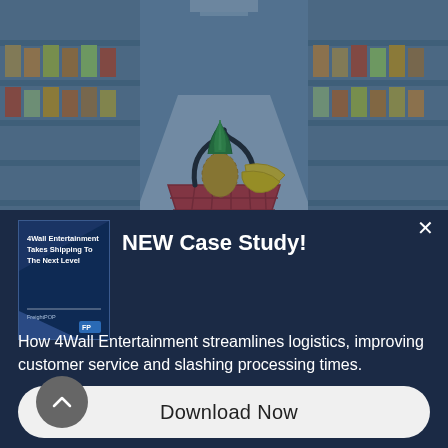[Figure (photo): Supermarket aisle with shopping basket filled with fruits (pineapple, bananas) viewed from a low angle, with blue overlay tint]
NEW Case Study!
[Figure (illustration): Book/report thumbnail: '4Wall Entertainment Takes Shipping To The Next Level' – FreightPOP branded document cover with blue design]
How 4Wall Entertainment streamlines logistics, improving customer service and slashing processing times.
Download Now